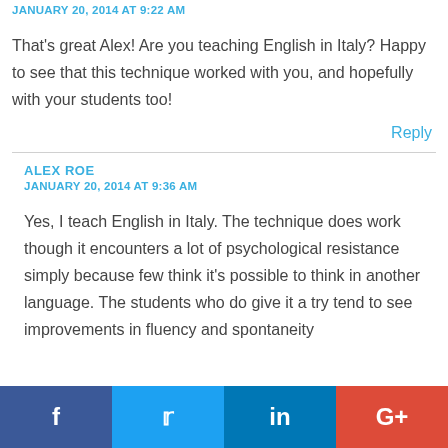JANUARY 20, 2014 AT 9:22 AM
That's great Alex! Are you teaching English in Italy? Happy to see that this technique worked with you, and hopefully with your students too!
Reply
ALEX ROE
JANUARY 20, 2014 AT 9:36 AM
Yes, I teach English in Italy. The technique does work though it encounters a lot of psychological resistance simply because few think it's possible to think in another language. The students who do give it a try tend to see improvements in fluency and spontaneity